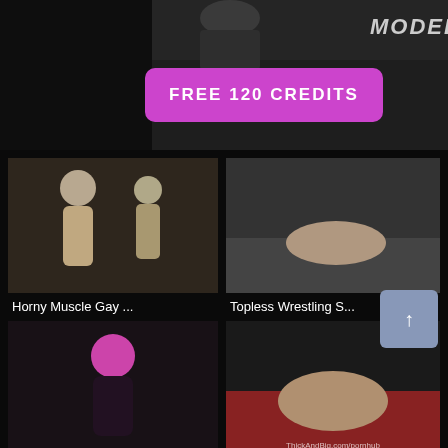[Figure (photo): Banner advertisement with 'FREE 120 CREDITS' pink button]
[Figure (photo): Horny Muscle Gay thumbnail]
[Figure (photo): Topless Wrestling S... thumbnail]
Horny Muscle Gay ...
Topless Wrestling S...
[Figure (photo): Lizzy Borden thumbnail]
[Figure (photo): Thick&big Two Big ... thumbnail]
Lizzy Borden
Thick&big Two Big ...
[Figure (photo): Bottom left partial thumbnail]
[Figure (photo): Bottom right partial thumbnail]